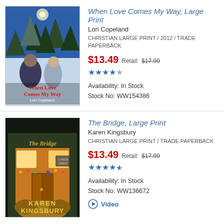[Figure (photo): Book cover of 'When Love Comes My Way' by Lori Copeland, showing a winter scene with snow-covered trees and two people (a man and a woman) in front.]
When Love Comes My Way, Large Print
Lori Copeland
CHRISTIAN LARGE PRINT / 2012 / TRADE PAPERBACK
$13.49 Retail: $17.99
★★★★☆
Availability: In Stock
Stock No: WW154386
[Figure (photo): Book cover of 'The Bridge, Large Print' by Karen Kingsbury, showing a warmly lit bookstore at night with Christmas decorations.]
The Bridge, Large Print
Karen Kingsbury
CHRISTIAN LARGE PRINT / TRADE PAPERBACK
$13.49 Retail: $17.99
★★★★½
Availability: In Stock
Stock No: WW136672
Video